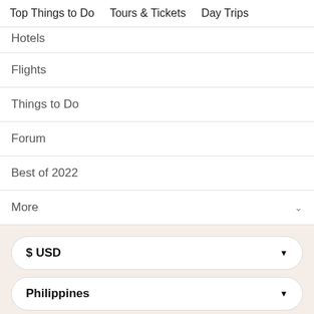Top Things to Do    Tours & Tickets    Day Trips
Hotels
Flights
Things to Do
Forum
Best of 2022
More
$ USD
Philippines
© 2022 TripAdvisor LLC All rights reserved. Terms of Use Privacy and Cookies Statement